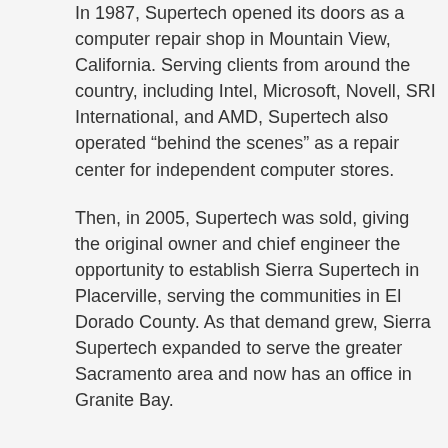In 1987, Supertech opened its doors as a computer repair shop in Mountain View, California. Serving clients from around the country, including Intel, Microsoft, Novell, SRI International, and AMD, Supertech also operated “behind the scenes” as a repair center for independent computer stores.
Then, in 2005, Supertech was sold, giving the original owner and chief engineer the opportunity to establish Sierra Supertech in Placerville, serving the communities in El Dorado County. As that demand grew, Sierra Supertech expanded to serve the greater Sacramento area and now has an office in Granite Bay.